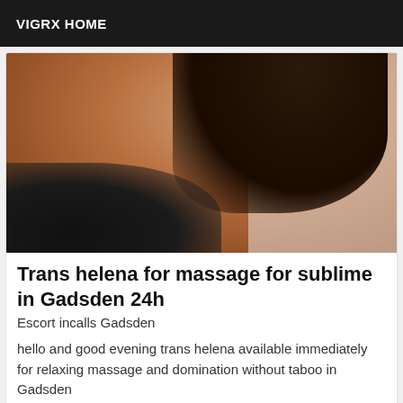VIGRX HOME
[Figure (photo): Close-up photo of a person's back wearing a black bra, with dark hair, against a white tiled wall background]
Trans helena for massage for sublime in Gadsden 24h
Escort incalls Gadsden
hello and good evening trans helena available immediately for relaxing massage and domination without taboo in Gadsden